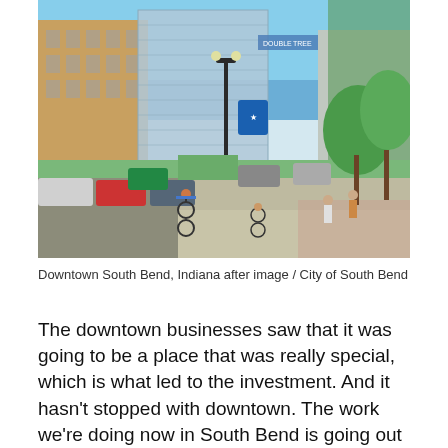[Figure (photo): Street-level photograph of downtown South Bend, Indiana showing cyclists riding on a dedicated bike path along a wide boulevard flanked by trees, pedestrians walking, parked cars, and city buildings including a DoubleTree hotel in the background under a blue sky.]
Downtown South Bend, Indiana after image / City of South Bend
The downtown businesses saw that it was going to be a place that was really special, which is what led to the investment. And it hasn't stopped with downtown. The work we're doing now in South Bend is going out like tendrils into the community. The city is systematically tackling their street network and prioritizing pedestrian and bicycle traffic. Secretary Buttigieg's vision has continued to transform the city's approach to